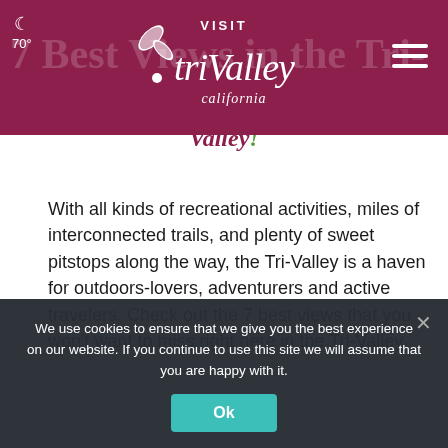Visit Tri-Valley California — 70° — Navigation header
7 Best Views in the Tri-Valley
With all kinds of recreational activities, miles of interconnected trails, and plenty of sweet pitstops along the way, the Tri-Valley is a haven for outdoors-lovers, adventurers and active travelers. Check out the 7 best views that you won't want to miss right here in the Tri-Valley.
[Figure (photo): Bottom image strip showing outdoor/travel photos of the Tri-Valley region]
We use cookies to ensure that we give you the best experience on our website. If you continue to use this site we will assume that you are happy with it.